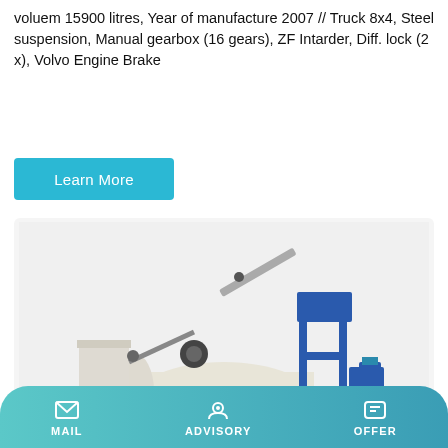voluem 15900 litres, Year of manufacture 2007 // Truck 8x4, Steel suspension, Manual gearbox (16 gears), ZF Intarder, Diff. lock (2 x), Volvo Engine Brake
Learn More
[Figure (photo): Industrial concrete mixer machine labeled JS1500A, beige/cream colored with blue steel frame, conveyors and support equipment, on a flat base]
MAIL   ADVISORY   OFFER